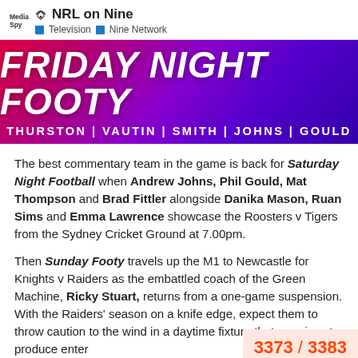NRL on Nine — Television · Nine Network
[Figure (illustration): Friday Night Footy banner with purple/pink gradient background. Large italic white text reads FRIDAY NIGHT FOOTY. Below: THURSTON | VAUTIN | SMITH | JOHNS | GOULD]
The best commentary team in the game is back for Saturday Night Football when Andrew Johns, Phil Gould, Mat Thompson and Brad Fittler alongside Danika Mason, Ruan Sims and Emma Lawrence showcase the Roosters v Tigers from the Sydney Cricket Ground at 7.00pm.

Then Sunday Footy travels up the M1 to Newcastle for Knights v Raiders as the embattled coach of the Green Machine, Ricky Stuart, returns from a one-game suspension. With the Raiders' season on a knife edge, expect them to throw caution to the wind in a daytime fixture that promises to produce enter
3373 / 3383